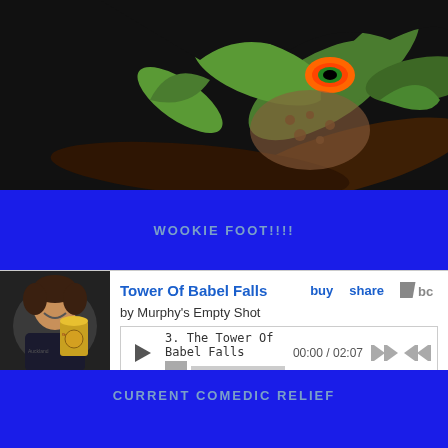[Figure (illustration): Dark background with green monster plant creature with colorful eye, tentacle-like leaves, against dark brown/black background]
WOOKIE FOOT!!!!
[Figure (screenshot): Bandcamp music player showing 'Tower Of Babel Falls' by Murphy's Empty Shot. Track 3: The Tower Of Babel Falls, time 00:00 / 02:07. Album art shows a man holding a Guinness beer. Player has play button, progress bar, skip controls, buy and share links.]
CURRENT COMEDIC RELIEF